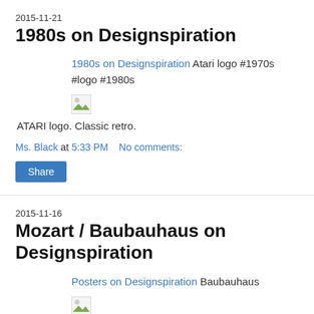2015-11-21
1980s on Designspiration
1980s on Designspiration Atari logo #1970s #logo #1980s
[Figure (other): Broken/missing image placeholder]
ATARI logo. Classic retro.
Ms. Black at 5:33 PM    No comments:
Share
2015-11-16
Mozart / Baubauhaus on Designspiration
Posters on Designspiration Baubauhaus
[Figure (other): Broken/missing image placeholder]